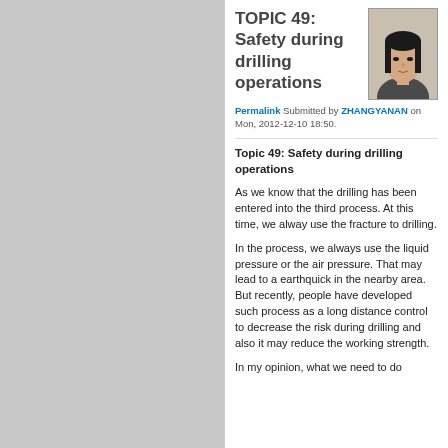TOPIC 49: Safety during drilling operations
Permalink Submitted by ZHANGYANAN on Mon, 2012-12-10 18:50.
Topic 49: Safety during drilling operations
As we know that the drilling has been entered into the third process. At this time, we alway use the fracture to drilling.
In the process, we always use the liquid pressure or the air pressure. That may lead to a earthquick in the nearby area. But recently, people have developed such process as a long distance control to decrease the risk during drilling and also it may reduce the working strength.
In my opinion, what we need to do